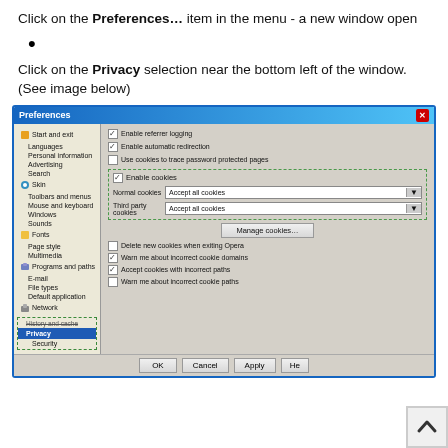Click on the Preferences... item in the menu - a new window open
•
Click on the Privacy selection near the bottom left of the window. (See image below)
[Figure (screenshot): Screenshot of the Opera browser Preferences dialog with Privacy selected in the left navigation panel, showing cookie settings on the right including checkboxes for Enable cookies, dropdowns for Normal cookies and Third party cookies set to Accept all cookies, and a Manage cookies button.]